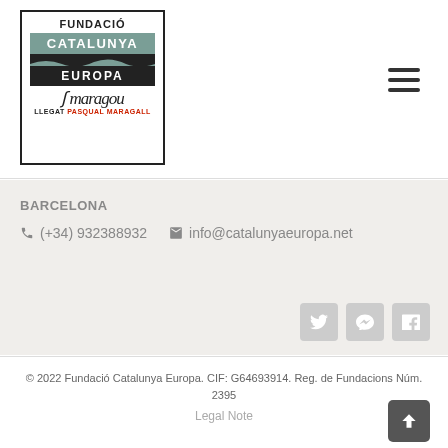[Figure (logo): Fundació Catalunya Europa logo with Llegat Pasqual Maragall signature]
BARCELONA
(+34) 932388932   info@catalunyaeuropa.net
[Figure (other): Social media icons: Twitter, Vimeo, Facebook]
© 2022 Fundació Catalunya Europa. CIF: G64693914. Reg. de Fundacions Núm. 2395
Legal Note